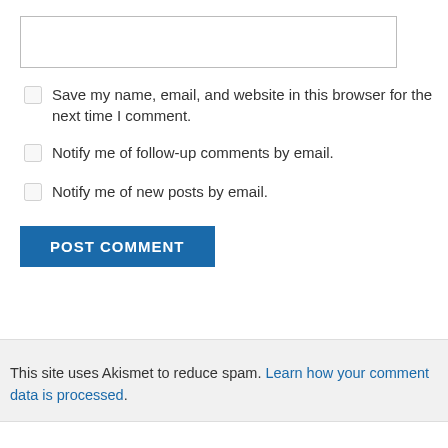[Figure (screenshot): Empty text input box (comment form field)]
Save my name, email, and website in this browser for the next time I comment.
Notify me of follow-up comments by email.
Notify me of new posts by email.
POST COMMENT (button)
This site uses Akismet to reduce spam. Learn how your comment data is processed.